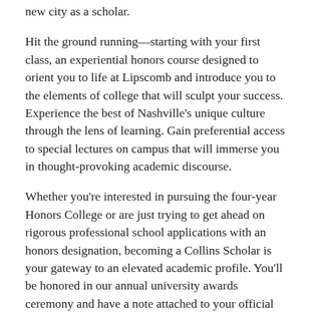new city as a scholar.
Hit the ground running—starting with your first class, an experiential honors course designed to orient you to life at Lipscomb and introduce you to the elements of college that will sculpt your success. Experience the best of Nashville's unique culture through the lens of learning. Gain preferential access to special lectures on campus that will immerse you in thought-provoking academic discourse.
Whether you're interested in pursuing the four-year Honors College or are just trying to get ahead on rigorous professional school applications with an honors designation, becoming a Collins Scholar is your gateway to an elevated academic profile. You'll be honored in our annual university awards ceremony and have a note attached to your official university transcript indicating your achievement of this distinction.